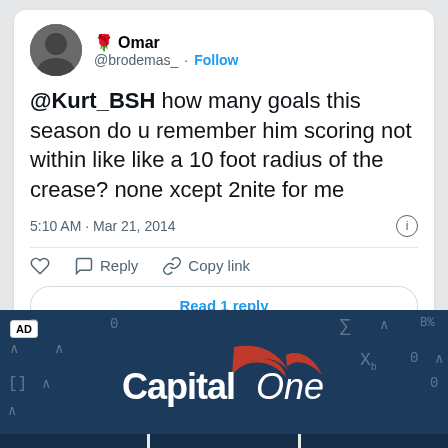[Figure (screenshot): Twitter/X screenshot showing a tweet from Omar (@brodemas_) with a rose emoji and Follow button. The tweet text reads: '@Kurt_BSH how many goals this season do u remember him scoring not within like like a 10 foot radius of the crease? none xcept 2nite for me'. Posted at 5:10 AM · Mar 21, 2014. Actions: like, Reply, Copy link. Button: Read 1 reply.]
[Figure (logo): Capital One advertisement banner with dark navy background showing the Capital One logo (red swoosh with white bold text 'Capital' and italic 'One') and mathematical/financial symbols scattered in the background. AD label in top left corner.]